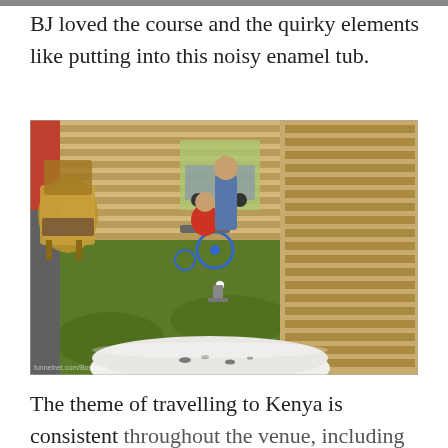BJ loved the course and the quirky elements like putting into this noisy enamel tub.
[Figure (photo): A person in a wheelchair on an indoor mini golf course with green artificial grass, wooden slatted walls, a wicker chair on the left, and a large white enamel bathtub in the foreground. An adult stands behind the wheelchair user who appears to be putting. A watermark is visible at the bottom left of the photo.]
The theme of travelling to Kenya is consistent throughout the venue, including the Jungle Jalez's